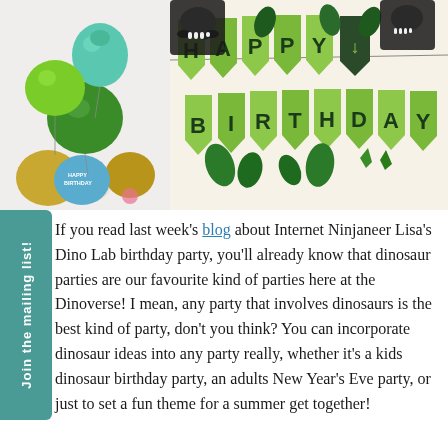[Figure (photo): Dinosaur-themed birthday balloons including a teal dinosaur foil balloon, green metallic round balloon, blue Happy Birthday balloon, gold and white balloons]
[Figure (photo): Happy Birthday banner with green pennant flags, dark tropical leaves, and black dinosaur skull cutouts]
If you read last week's blog about Internet Ninjaneer Lisa's Dino Lab birthday party, you'll already know that dinosaur parties are our favourite kind of parties here at the Dinoverse! I mean, any party that involves dinosaurs is the best kind of party, don't you think? You can incorporate dinosaur ideas into any party really, whether it's a kids dinosaur birthday party, an adults New Year's Eve party, or just to set a fun theme for a summer get together!